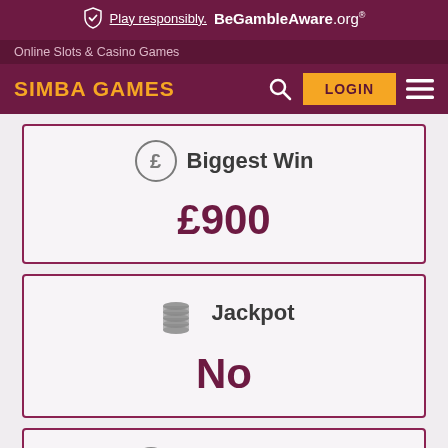Play responsibly. BeGambleAware.org
Online Slots & Casino Games
SIMBA GAMES  LOGIN
£ Biggest Win
£900
Jackpot
No
Produced by